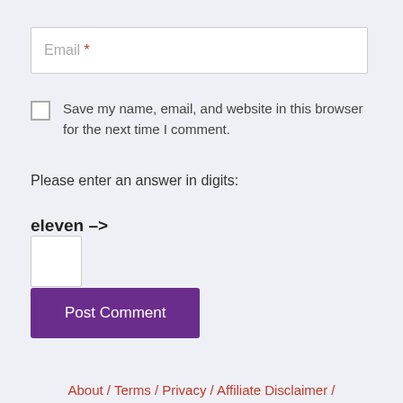Email *
Save my name, email, and website in this browser for the next time I comment.
Please enter an answer in digits:
eleven – one =
Post Comment
About / Terms / Privacy / Affiliate Disclaimer /